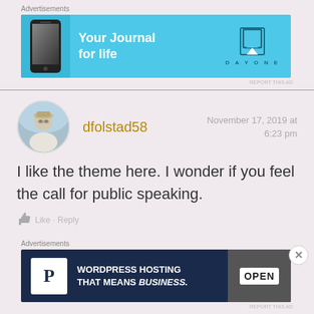Advertisements
[Figure (infographic): Advertisement banner for DayOne app: cyan/blue background with phone image on left, bold white text 'Your Journal for life', and DayOne logo with bookmark icon on the right]
REPORT THIS AD
dfolstad58
November 17, 2019 at 6:23 pm
I like the theme here. I wonder if you feel the call for public speaking.
Advertisements
[Figure (infographic): Advertisement banner for WordPress Hosting: dark navy background, white P icon, bold white text 'WORDPRESS HOSTING THAT MEANS BUSINESS.', photo of OPEN sign on right]